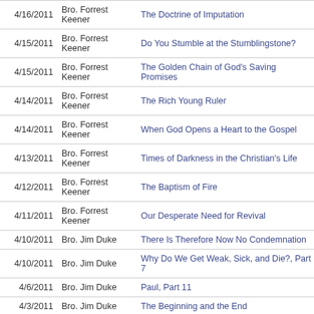| Date | Speaker | Title |
| --- | --- | --- |
| 4/16/2011 | Bro. Forrest Keener | The Doctrine of Imputation |
| 4/15/2011 | Bro. Forrest Keener | Do You Stumble at the Stumblingstone? |
| 4/15/2011 | Bro. Forrest Keener | The Golden Chain of God's Saving Promises |
| 4/14/2011 | Bro. Forrest Keener | The Rich Young Ruler |
| 4/14/2011 | Bro. Forrest Keener | When God Opens a Heart to the Gospel |
| 4/13/2011 | Bro. Forrest Keener | Times of Darkness in the Christian's Life |
| 4/12/2011 | Bro. Forrest Keener | The Baptism of Fire |
| 4/11/2011 | Bro. Forrest Keener | Our Desperate Need for Revival |
| 4/10/2011 | Bro. Jim Duke | There Is Therefore Now No Condemnation |
| 4/10/2011 | Bro. Jim Duke | Why Do We Get Weak, Sick, and Die?, Part 7 |
| 4/6/2011 | Bro. Jim Duke | Paul, Part 11 |
| 4/3/2011 | Bro. Jim Duke | The Beginning and the End |